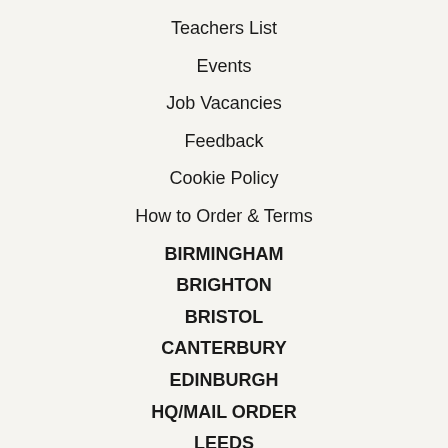Teachers List
Events
Job Vacancies
Feedback
Cookie Policy
How to Order & Terms
BIRMINGHAM
BRIGHTON
BRISTOL
CANTERBURY
EDINBURGH
HQ/MAIL ORDER
LEEDS
LONDON